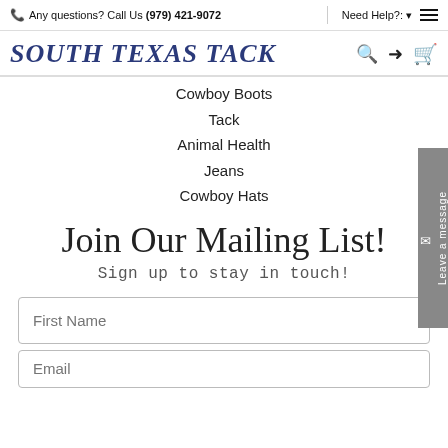Any questions? Call Us (979) 421-9072 | Need Help?: ▾ ≡
[Figure (logo): South Texas Tack logo in dark blue serif italic font, with search, login, and cart icons on the right]
Cowboy Boots
Tack
Animal Health
Jeans
Cowboy Hats
Join Our Mailing List!
Sign up to stay in touch!
First Name
Email